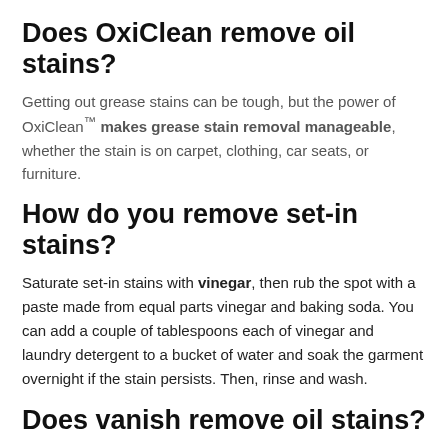Does OxiClean remove oil stains?
Getting out grease stains can be tough, but the power of OxiClean™ makes grease stain removal manageable, whether the stain is on carpet, clothing, car seats, or furniture.
How do you remove set-in stains?
Saturate set-in stains with vinegar, then rub the spot with a paste made from equal parts vinegar and baking soda. You can add a couple of tablespoons each of vinegar and laundry detergent to a bucket of water and soak the garment overnight if the stain persists. Then, rinse and wash.
Does vanish remove oil stains?